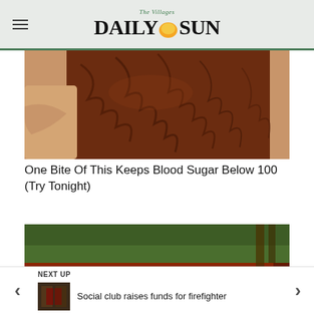The Villages Daily Sun
[Figure (photo): Close-up photo of what appears to be a wrinkled brown food item being held by a hand]
One Bite Of This Keeps Blood Sugar Below 100 (Try Tonight)
[Figure (photo): Photo of Camp Lejeune entrance brick sign reading CAMP LEJEUNE HOME OF EXPEDITIONARY]
NEXT UP
[Figure (photo): Small thumbnail image for next article]
Social club raises funds for firefighter